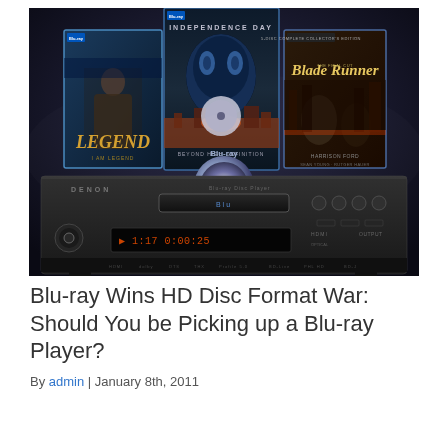[Figure (photo): Promotional image showing Blu-ray movie cases (I Am Legend, Independence Day, Blade Runner) and a Denon Blu-ray player on a dark background]
Blu-ray Wins HD Disc Format War: Should You be Picking up a Blu-ray Player?
By admin | January 8th, 2011